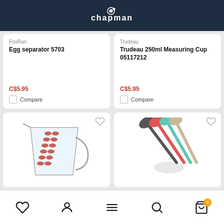Chapman
FoxRun
Egg separator 5703
C$5.95
Compare
Trudeau
Trudeau 250ml Measuring Cup 05117212
C$5.95
Compare
[Figure (photo): Angled measuring cup with red markings]
[Figure (photo): Set of colorful measuring spoons in gray, red, mint, and beige]
Heart | Person | Menu | Search | Cart (0)